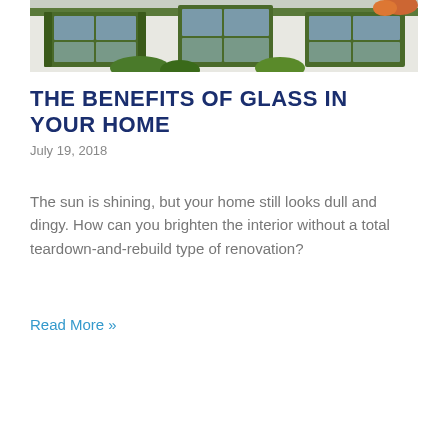[Figure (photo): Exterior photo of a house with green-trimmed windows and white siding, showing front facade with decorative plants]
THE BENEFITS OF GLASS IN YOUR HOME
July 19, 2018
The sun is shining, but your home still looks dull and dingy. How can you brighten the interior without a total teardown-and-rebuild type of renovation?
Read More »